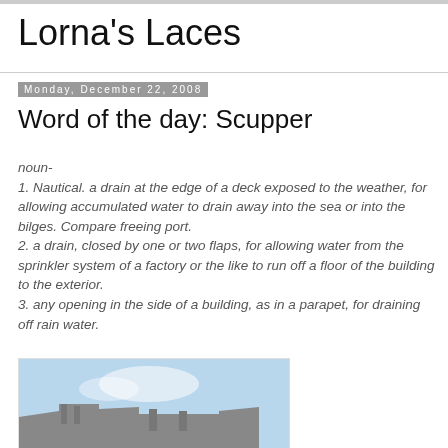Lorna's Laces
Monday, December 22, 2008
Word of the day: Scupper
noun-
1. Nautical. a drain at the edge of a deck exposed to the weather, for allowing accumulated water to drain away into the sea or into the bilges. Compare freeing port.
2. a drain, closed by one or two flaps, for allowing water from the sprinkler system of a factory or the like to run off a floor of the building to the exterior.
3. any opening in the side of a building, as in a parapet, for draining off rain water.
[Figure (photo): Photo of a building against a light blue sky, showing roofline and masonry wall.]